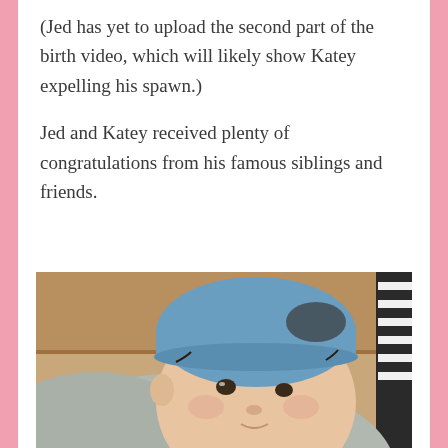(Jed has yet to upload the second part of the birth video, which will likely show Katey expelling his spawn.)
Jed and Katey received plenty of congratulations from his famous siblings and friends.
[Figure (photo): Close-up photo of a newborn baby wearing a light blue knit hospital hat, wrapped in gray swaddle blanket, with a beige couch and striped fabric visible in the background.]